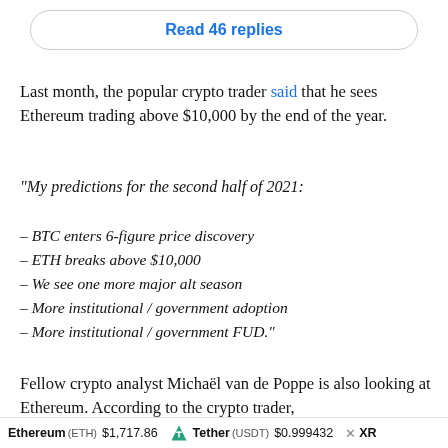Read 46 replies
Last month, the popular crypto trader said that he sees Ethereum trading above $10,000 by the end of the year.
“My predictions for the second half of 2021:
– BTC enters 6-figure price discovery
– ETH breaks above $10,000
– We see one more major alt season
– More institutional / government adoption
– More institutional / government FUD.”
Fellow crypto analyst Michaël van de Poppe is also looking at Ethereum. According to the crypto trader,
Ethereum (ETH) $1,717.86    Tether (USDT) $0.999432    XR